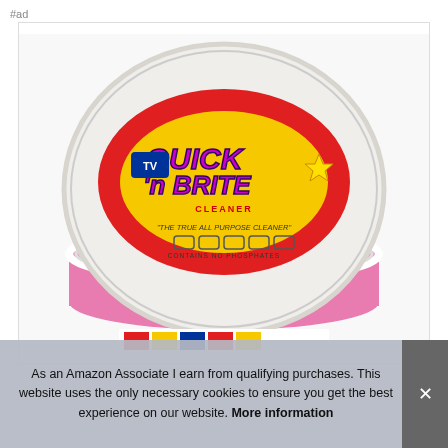#ad
[Figure (photo): A white lidded container of Quick 'n Brite all-purpose cleaner. The lid shows the brand logo with red and yellow design elements. The container below has a pink/magenta color. Text on lid reads 'THE TRUE ALL PURPOSE CLEANER' with small icons and 'CONTAINS NO PHOSPHATES'.]
As an Amazon Associate I earn from qualifying purchases. This website uses the only necessary cookies to ensure you get the best experience on our website. More information